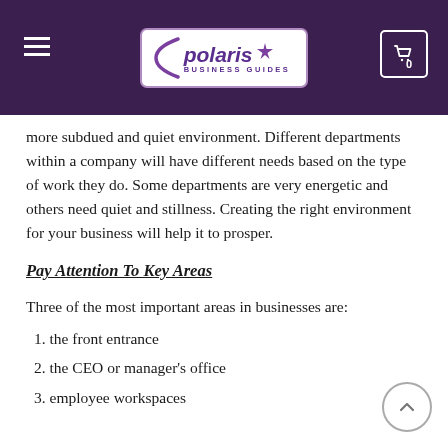Polaris Business Guides
more subdued and quiet environment. Different departments within a company will have different needs based on the type of work they do. Some departments are very energetic and others need quiet and stillness. Creating the right environment for your business will help it to prosper.
Pay Attention To Key Areas
Three of the most important areas in businesses are:
the front entrance
the CEO or manager's office
employee workspaces